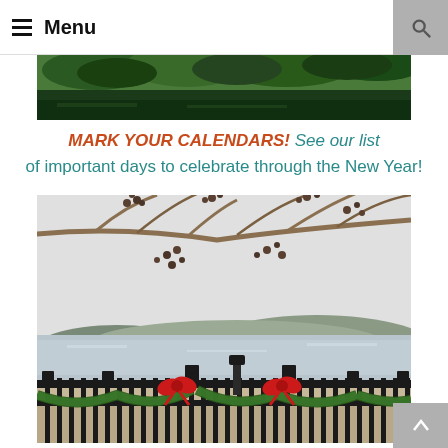≡ Menu
[Figure (photo): Top portion of a nature photo showing green trees and water]
MARK YOUR CALENDARS! See our list of important days to celebrate through the New Year!
[Figure (photo): Winter photo of a riverside overlook with a black iron fence decorated with Christmas garland and red bows, bare tree branches with dried berries in the foreground, river and hills in the background under an overcast sky]